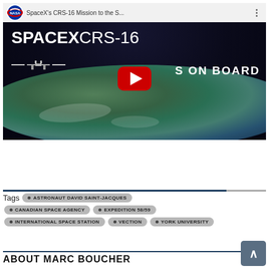[Figure (screenshot): YouTube video thumbnail for SpaceX's CRS-16 Mission to the Space Station. Shows NASA logo and video title in top bar, 'SPACEX CRS-16 ... ON BOARD' text overlaid on an image of Earth from space, with a red YouTube play button in the center.]
Tags  • ASTRONAUT DAVID SAINT-JACQUES  • CANADIAN SPACE AGENCY  • EXPEDITION 58/59  • INTERNATIONAL SPACE STATION  • VECTION  • YORK UNIVERSITY
ABOUT MARC BOUCHER